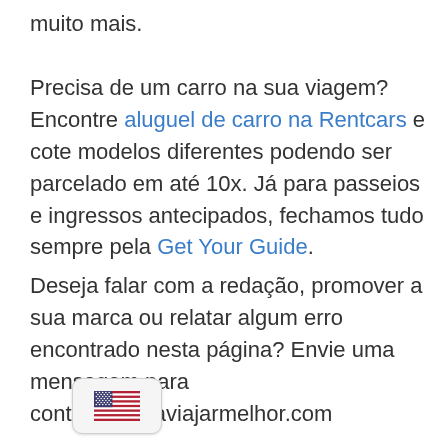muito mais.
Precisa de um carro na sua viagem? Encontre aluguel de carro na Rentcars e cote modelos diferentes podendo ser parcelado em até 10x. Já para passeios e ingressos antecipados, fechamos tudo sempre pela Get Your Guide.
Deseja falar com a redação, promover a sua marca ou relatar algum erro encontrado nesta página? Envie uma mensagem para contato@guiaviajarmelhor.com
[Figure (illustration): US flag emoji button/icon — a small rounded rectangle showing the American flag]